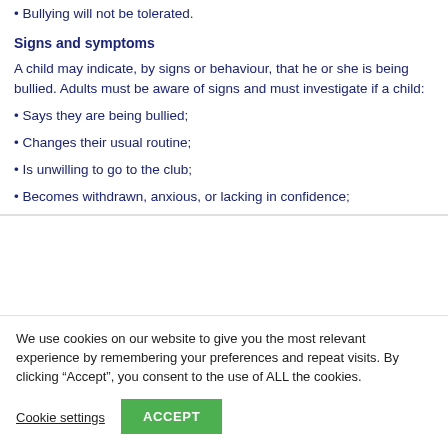• Bullying will not be tolerated.
Signs and symptoms
A child may indicate, by signs or behaviour, that he or she is being bullied. Adults must be aware of signs and must investigate if a child:
• Says they are being bullied;
• Changes their usual routine;
• Is unwilling to go to the club;
• Becomes withdrawn, anxious, or lacking in confidence;
We use cookies on our website to give you the most relevant experience by remembering your preferences and repeat visits. By clicking “Accept”, you consent to the use of ALL the cookies.
Cookie settings  ACCEPT